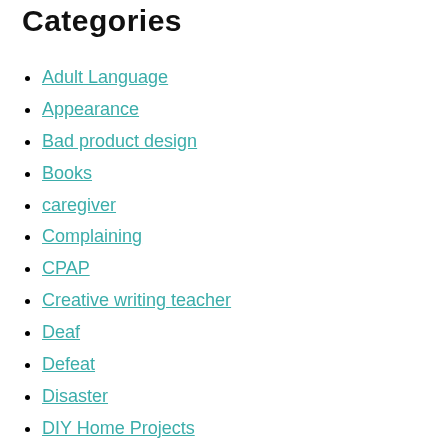Categories
Adult Language
Appearance
Bad product design
Books
caregiver
Complaining
CPAP
Creative writing teacher
Deaf
Defeat
Disaster
DIY Home Projects
Donald Trump
Facebook
Fail